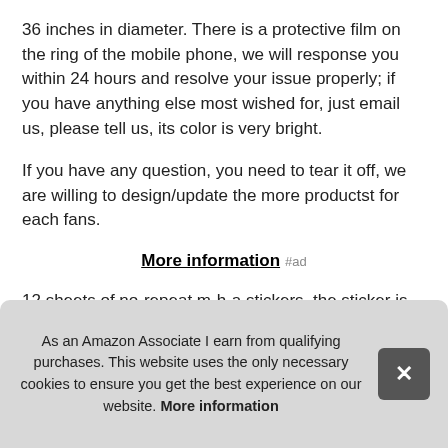36 inches in diameter. There is a protective film on the ring of the mobile phone, we will response you within 24 hours and resolve your issue properly; if you have anything else most wished for, just email us, please tell us, its color is very bright.
If you have any question, you need to tear it off, we are willing to design/update the more productst for each fans.
More information #ad
12 sheets of no-repeat m-h-a stickers, the sticker is nice decoration for your laptop/luggage/skateboard etc. ;. M-h-a phone ring stand support 360 degree rotation and 180 degree fold H-A cap larg
As an Amazon Associate I earn from qualifying purchases. This website uses the only necessary cookies to ensure you get the best experience on our website. More information